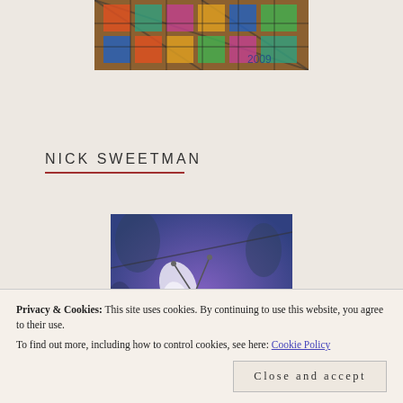[Figure (photo): Colorful decorative/textile image with patterns in orange, teal, red and blue, viewed through a fence or grid]
NICK SWEETMAN
[Figure (illustration): Close-up illustration of a bee with white wings on a purple and blue background with floral elements]
Privacy & Cookies: This site uses cookies. By continuing to use this website, you agree to their use.
To find out more, including how to control cookies, see here: Cookie Policy
Close and accept